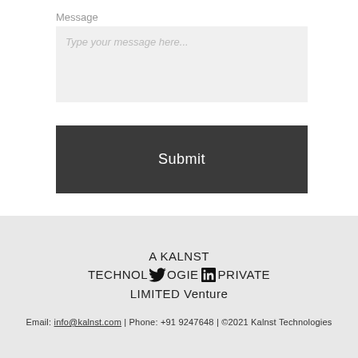Message
Type your message here...
Submit
A KALNST TECHNOLOGIES PRIVATE LIMITED Venture
Email: info@kalnst.com | Phone: +91 9247648 | ©2021 Kalnst Technologies